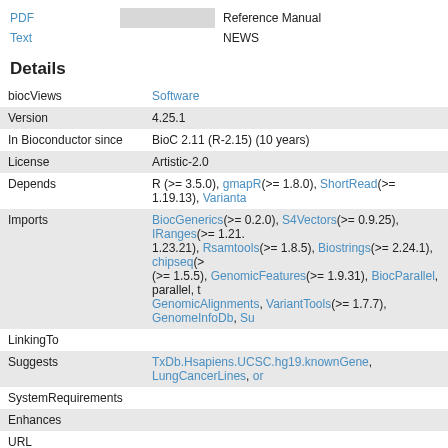|  |  |  |
| --- | --- | --- |
| PDF |  | Reference Manual |
| Text |  | NEWS |
Details
| Field | Value |
| --- | --- |
| biocViews | Software |
| Version | 4.25.1 |
| In Bioconductor since | BioC 2.11 (R-2.15) (10 years) |
| License | Artistic-2.0 |
| Depends | R (>= 3.5.0), gmapR(>= 1.8.0), ShortRead(>= 1.19.13), VariantA... |
| Imports | BiocGenerics(>= 0.2.0), S4Vectors(>= 0.9.25), IRanges(>= 1.21. 1.23.21), Rsamtools(>= 1.8.5), Biostrings(>= 2.24.1), chipseq(>... (>= 1.5.5), GenomicFeatures(>= 1.9.31), BiocParallel, parallel, t... GenomicAlignments, VariantTools(>= 1.7.7), GenomeInfoDb, Su... |
| LinkingTo |  |
| Suggests | TxDb.Hsapiens.UCSC.hg19.knownGene, LungCancerLines, or... |
| SystemRequirements |  |
| Enhances |  |
| URL |  |
| Depends On Me |  |
| Imports Me |  |
| Suggests Me |  |
| Links To Me |  |
| Build Report |  |